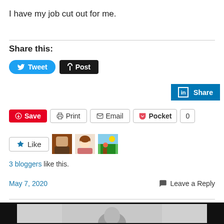I have my job cut out for me.
Share this:
[Figure (screenshot): Social sharing buttons: Tweet (Twitter), Post (Tumblr), LinkedIn Share, Save (Pinterest), Print, Email, Pocket with count 0]
[Figure (screenshot): Like button with 3 blogger avatars]
3 bloggers like this.
May 7, 2020   Leave a Reply
[Figure (photo): Black-framed photo at bottom of page, partially visible, showing a grayscale image with a person silhouette]